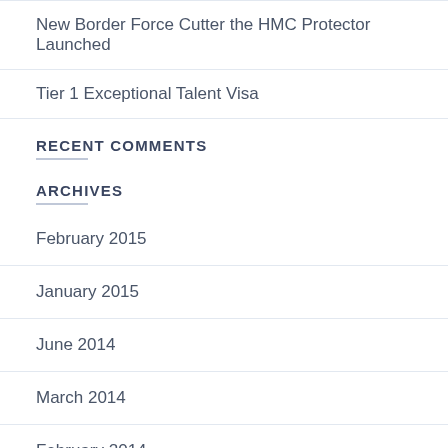New Border Force Cutter the HMC Protector Launched
Tier 1 Exceptional Talent Visa
RECENT COMMENTS
ARCHIVES
February 2015
January 2015
June 2014
March 2014
February 2014
January 2014
November 2013